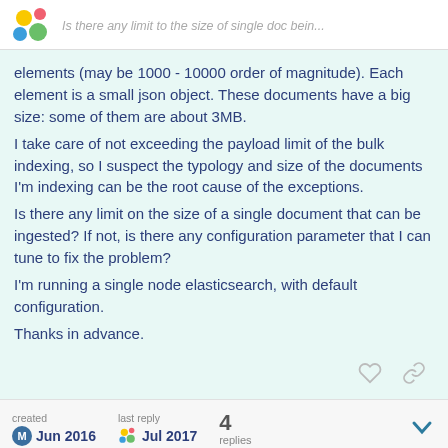Is there any limit to the size of single doc bein...
elements (may be 1000 - 10000 order of magnitude). Each element is a small json object. These documents have a big size: some of them are about 3MB.
I take care of not exceeding the payload limit of the bulk indexing, so I suspect the typology and size of the documents I'm indexing can be the root cause of the exceptions.
Is there any limit on the size of a single document that can be ingested? If not, is there any configuration parameter that I can tune to fix the problem?
I'm running a single node elasticsearch, with default configuration.
Thanks in advance.
created Jun 2016   last reply Jul 2017   4 replies   1 / 5